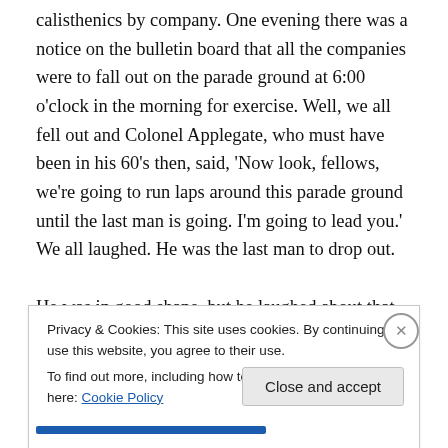calisthenics by company. One evening there was a notice on the bulletin board that all the companies were to fall out on the parade ground at 6:00 o'clock in the morning for exercise. Well, we all fell out and Colonel Applegate, who must have been in his 60's then, said, 'Now look, fellows, we're going to run laps around this parade ground until the last man is going. I'm going to lead you.' We all laughed. He was the last man to drop out.

He was in good shape, but he laughed about that. They were the type of people, Colonel Spaur and Colonel
Privacy & Cookies: This site uses cookies. By continuing to use this website, you agree to their use.
To find out more, including how to control cookies, see here: Cookie Policy
Close and accept